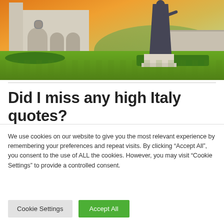[Figure (photo): Photo of an Italian church/basilica with a bronze statue in the foreground on a green manicured lawn, set against an orange sunset sky with hills in the background.]
Did I miss any high Italy quotes?
We use cookies on our website to give you the most relevant experience by remembering your preferences and repeat visits. By clicking “Accept All”, you consent to the use of ALL the cookies. However, you may visit “Cookie Settings” to provide a controlled consent.
Cookie Settings | Accept All